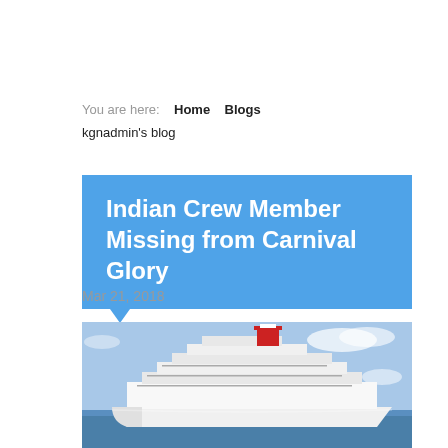You are here:   Home   Blogs
kgnadmin's blog
Indian Crew Member Missing from Carnival Glory
Mar 21, 2018
[Figure (photo): A large white cruise ship (Carnival Glory) photographed from the front-left angle on blue ocean water under a partly cloudy sky. The ship has a distinctive red and white Carnival funnel.]